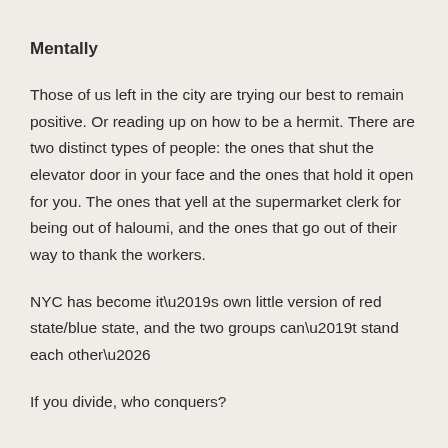Mentally
Those of us left in the city are trying our best to remain positive. Or reading up on how to be a hermit. There are two distinct types of people: the ones that shut the elevator door in your face and the ones that hold it open for you. The ones that yell at the supermarket clerk for being out of haloumi, and the ones that go out of their way to thank the workers.
NYC has become it’s own little version of red state/blue state, and the two groups can’t stand each other…
If you divide, who conquers?